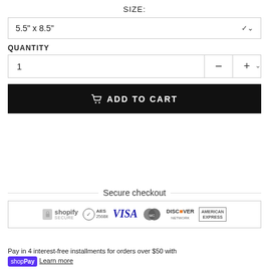SIZE:
5.5" x 8.5"
QUANTITY
1
ADD TO CART
Secure checkout
[Figure (other): Secure checkout payment badges: Shopify Secure, AES 256Bit, VISA, MasterCard, Discover Network, American Express]
Pay in 4 interest-free installments for orders over $50 with shop Pay Learn more